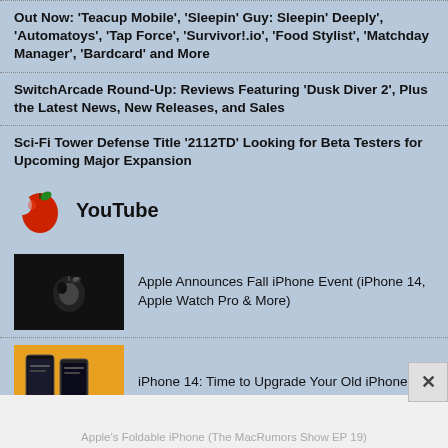Out Now: 'Teacup Mobile', 'Sleepin' Guy: Sleepin' Deeply', 'Automatoys', 'Tap Force', 'Survivor!.io', 'Food Stylist', 'Matchday Manager', 'Bardcard' and More
SwitchArcade Round-Up: Reviews Featuring 'Dusk Diver 2', Plus the Latest News, New Releases, and Sales
Sci-Fi Tower Defense Title '2112TD' Looking for Beta Testers for Upcoming Major Expansion
YouTube
Apple Announces Fall iPhone Event (iPhone 14, Apple Watch Pro & More)
iPhone 14: Time to Upgrade Your Old iPhone?
Apple's Foldable iPhone (The MacRumors Show EP 19)